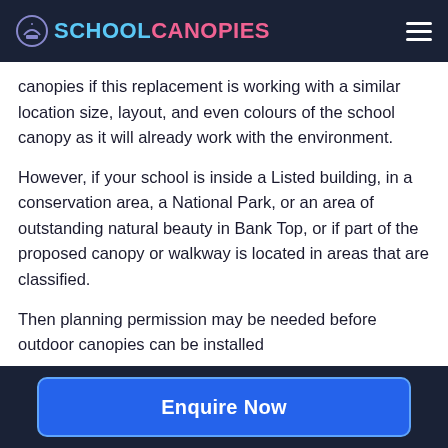SCHOOL CANOPIES
canopies if this replacement is working with a similar location size, layout, and even colours of the school canopy as it will already work with the environment.
However, if your school is inside a Listed building, in a conservation area, a National Park, or an area of outstanding natural beauty in Bank Top, or if part of the proposed canopy or walkway is located in areas that are classified.
Then planning permission may be needed before outdoor canopies can be installed
Enquire Now